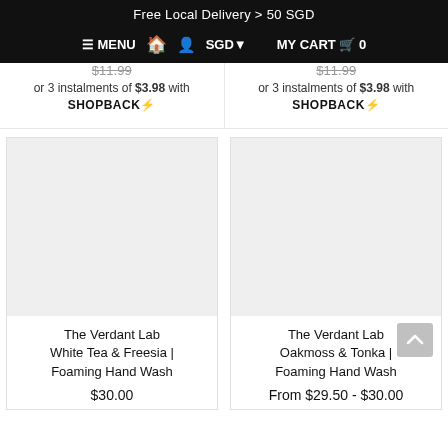Free Local Delivery > 50 SGD
≡ MENU  🏠  👤  SGD ▾  MY CART 🛒 0
$11.99 or 3 instalments of $3.98 with SHOPBACK⚡
$11.99 or 3 instalments of $3.98 with SHOPBACK⚡
[Figure (photo): Product image placeholder for The Verdant Lab White Tea & Freesia Foaming Hand Wash]
The Verdant Lab White Tea & Freesia | Foaming Hand Wash
$30.00
[Figure (photo): Product image placeholder for The Verdant Lab Oakmoss & Tonka Foaming Hand Wash]
The Verdant Lab Oakmoss & Tonka | Foaming Hand Wash
From $29.50 - $30.00